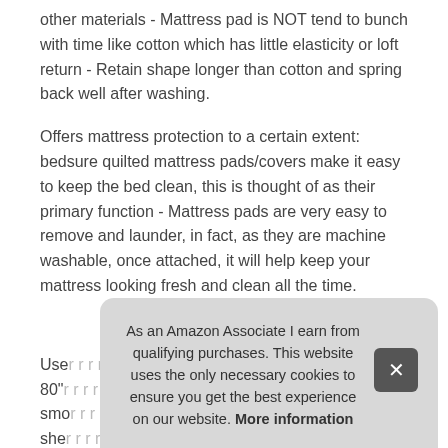other materials - Mattress pad is NOT tend to bunch with time like cotton which has little elasticity or loft return - Retain shape longer than cotton and spring back well after washing.
Offers mattress protection to a certain extent: bedsure quilted mattress pads/covers make it easy to keep the bed clean, this is thought of as their primary function - Mattress pads are very easy to remove and launder, in fact, as they are machine washable, once attached, it will help keep your mattress looking fresh and clean all the time.
More information #ad
Use ... 80" ... smo ... she ... stre ... the ultimate restful and easy clean experience
As an Amazon Associate I earn from qualifying purchases. This website uses the only necessary cookies to ensure you get the best experience on our website. More information